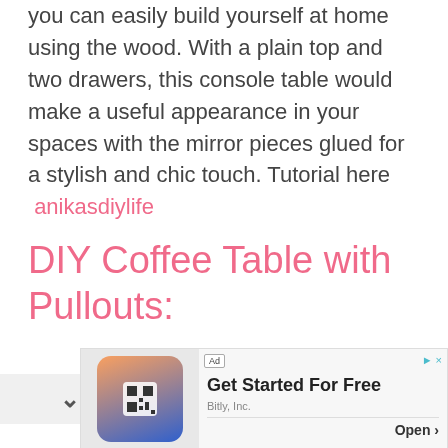you can easily build yourself at home using the wood. With a plain top and two drawers, this console table would make a useful appearance in your spaces with the mirror pieces glued for a stylish and chic touch. Tutorial here  anikasdiylife
DIY Coffee Table with Pullouts:
[Figure (screenshot): Advertisement banner for Bitly, Inc. with 'Get Started For Free' heading, phone image with QR code, and Open button.]